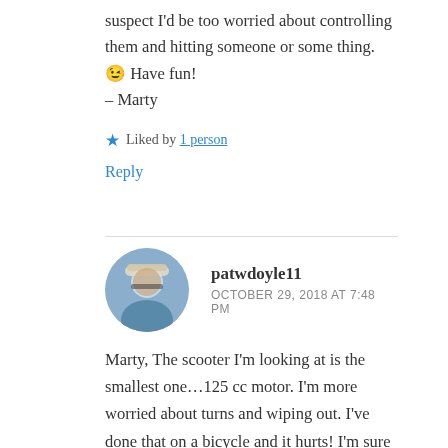suspect I'd be too worried about controlling them and hitting someone or some thing. 😉 Have fun!
– Marty
★ Liked by 1 person
Reply
patwdoyle11
OCTOBER 29, 2018 AT 7:48 PM
Marty, The scooter I'm looking at is the smallest one…125 cc motor. I'm more worried about turns and wiping out. I've done that on a bicycle and it hurts! I'm sure I'll be the slow person that folks will hate being behind on